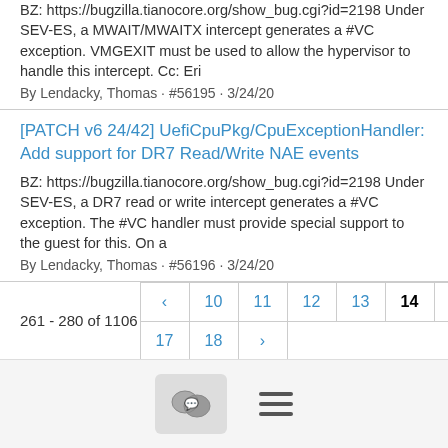BZ: https://bugzilla.tianocore.org/show_bug.cgi?id=2198 Under SEV-ES, a MWAIT/MWAITX intercept generates a #VC exception. VMGEXIT must be used to allow the hypervisor to handle this intercept. Cc: Eri
By Lendacky, Thomas · #56195 · 3/24/20
[PATCH v6 24/42] UefiCpuPkg/CpuExceptionHandler: Add support for DR7 Read/Write NAE events
BZ: https://bugzilla.tianocore.org/show_bug.cgi?id=2198 Under SEV-ES, a DR7 read or write intercept generates a #VC exception. The #VC handler must provide special support to the guest for this. On a
By Lendacky, Thomas · #56196 · 3/24/20
261 - 280 of 1106